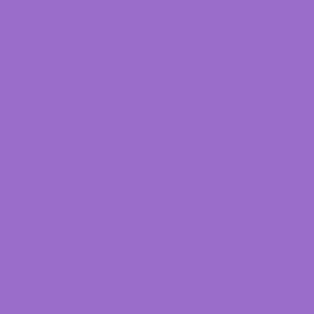[Figure (other): Solid purple/violet colored rectangular panel occupying the left portion of the page]
"The greates truly kinder had at one t possibility o pastime, sh that items a service with change is n speed trial. retail. If you like we don't
Oh, and the stories
Either way, it make to have the most i book's closing pag brick & mortar boo and where he sees